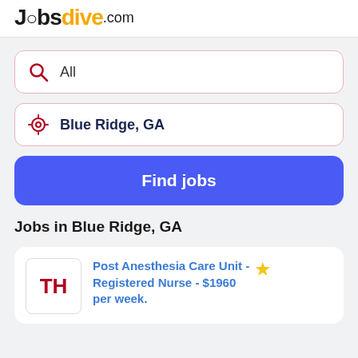Jobsdive.com
All
Blue Ridge, GA
Find jobs
Jobs in Blue Ridge, GA
Post Anesthesia Care Unit - Registered Nurse - $1960 per week.